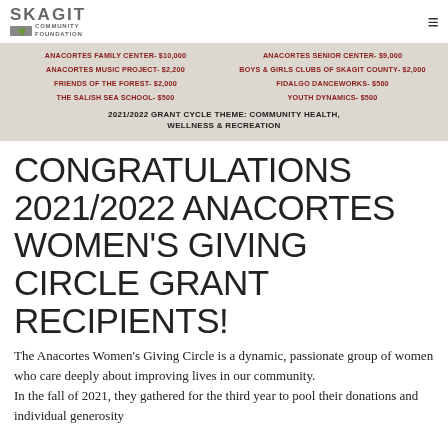SKAGIT COMMUNITY FOUNDATION
[Figure (infographic): Banner listing 2021/2022 Anacortes Women's Giving Circle grant recipients with amounts in red text on a light beige/grey background, including: ANACORTES FAMILY CENTER- $10,000; ANACORTES SENIOR CENTER- $9,000; ANACORTES MUSIC PROJECT- $2,200; BOYS & GIRLS CLUBS OF SKAGIT COUNTY- $2,000; FRIENDS OF THE FOREST- $2,000; FIDALGO DANCEWORKS- $500; THE SALISH SEA SCHOOL- $500; YOUTH DYNAMICS- $500. Theme: 2021/2022 GRANT CYCLE THEME: COMMUNITY HEALTH, WELLNESS & RECREATION]
CONGRATULATIONS 2021/2022 ANACORTES WOMEN'S GIVING CIRCLE GRANT RECIPIENTS!
The Anacortes Women's Giving Circle is a dynamic, passionate group of women who care deeply about improving lives in our community. In the fall of 2021, they gathered for the third year to pool their donations and individual generosity